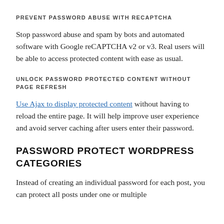PREVENT PASSWORD ABUSE WITH RECAPTCHA
Stop password abuse and spam by bots and automated software with Google reCAPTCHA v2 or v3. Real users will be able to access protected content with ease as usual.
UNLOCK PASSWORD PROTECTED CONTENT WITHOUT PAGE REFRESH
Use Ajax to display protected content without having to reload the entire page. It will help improve user experience and avoid server caching after users enter their password.
PASSWORD PROTECT WORDPRESS CATEGORIES
Instead of creating an individual password for each post, you can protect all posts under one or multiple